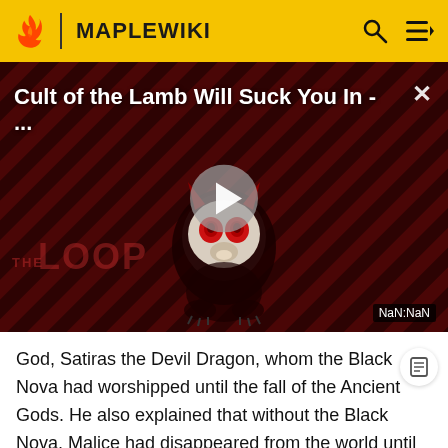MAPLEWIKI
[Figure (screenshot): Video thumbnail for 'Cult of the Lamb Will Suck You In - ...' with diagonal red/dark striped background, a demon character mascot in the center, a play button overlay, THE LOOP watermark in lower left, and NaN:NaN timestamp in lower right]
God, Satiras the Devil Dragon, whom the Black Nova had worshipped until the fall of the Ancient Gods. He also explained that without the Black Nova, Malice had disappeared from the world until someone uncovered it and began to distribute it to the Drakas.